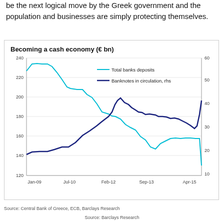be the next logical move by the Greek government and the population and businesses are simply protecting themselves.
[Figure (line-chart): Becoming a cash economy (€ bn)]
Source: Central Bank of Greece, ECB, Barclays Research
Source: Barclays Research